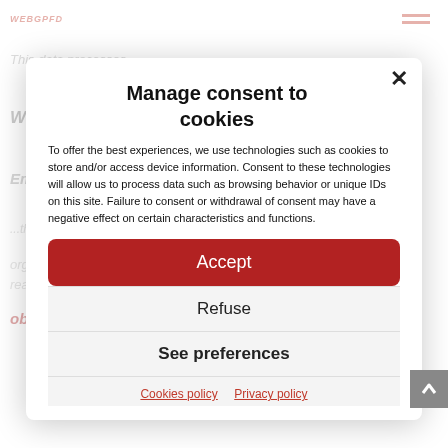[Figure (screenshot): Background webpage content showing a privacy policy page with headings 'With whom we share personal data', 'Employees', 'Third Parties', 'Other disclosures' — partially visible and grayed out behind the cookie consent modal overlay.]
Manage consent to cookies
To offer the best experiences, we use technologies such as cookies to store and/or access device information. Consent to these technologies will allow us to process data such as browsing behavior or unique IDs on this site. Failure to consent or withdrawal of consent may have a negative effect on certain characteristics and functions.
Accept
Refuse
See preferences
Cookies policy   Privacy policy